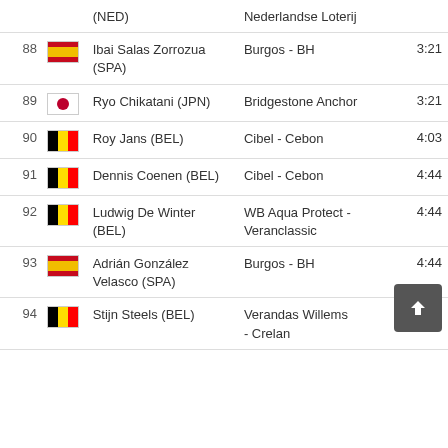| # | Flag | Rider | Team | Time |
| --- | --- | --- | --- | --- |
|  | (NED) |  | Nederlandse Loterij |  |
| 88 | (SPA) | Ibai Salas Zorrozua | Burgos - BH | 3:21 |
| 89 | (JPN) | Ryo Chikatani (JPN) | Bridgestone Anchor | 3:21 |
| 90 | (BEL) | Roy Jans (BEL) | Cibel - Cebon | 4:03 |
| 91 | (BEL) | Dennis Coenen (BEL) | Cibel - Cebon | 4:44 |
| 92 | (BEL) | Ludwig De Winter (BEL) | WB Aqua Protect - Veranclassic | 4:44 |
| 93 | (SPA) | Adrián González Velasco (SPA) | Burgos - BH | 4:44 |
| 94 | (BEL) | Stijn Steels (BEL) | Verandas Willems - Crelan | 4:44 |